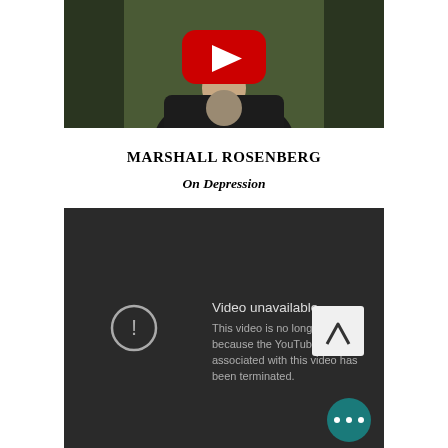[Figure (screenshot): YouTube video thumbnail showing a man in a dark jacket and turtleneck with a YouTube play button overlay, set against a green wooded background.]
MARSHALL ROSENBERG
On Depression
[Figure (screenshot): YouTube video unavailable error screen with dark background. Shows a circle exclamation icon on the left, text 'Video unavailable' and 'This video is no longer available because the YouTube account associated with this video has been terminated.' A white scroll-up arrow button and a teal chat bubble with three dots are visible.]